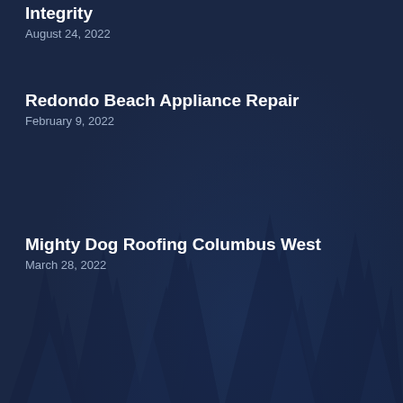Integrity
August 24, 2022
Redondo Beach Appliance Repair
February 9, 2022
Mighty Dog Roofing Columbus West
March 28, 2022
Tuinreconstructie van de Griend
April 12, 2022
CDA Fencing Maitland
August 5, 2021
Mallard Lane Dental, Ike Rahimi DMD